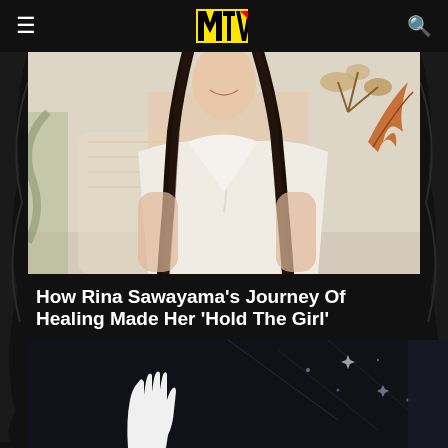MTV
[Figure (photo): A woman with long black braids wearing a white crossover halter top, seated in a wicker chair with orange dried floral arrangement in background]
How Rina Sawayama's Journey Of Healing Made Her 'Hold The Girl'
The Japanese-British pop singer tells 'The Method' about developing her interior second album
08/19/2022
[Figure (photo): Dark concert or performance scene with a raised hand visible against dark background with light streaks]